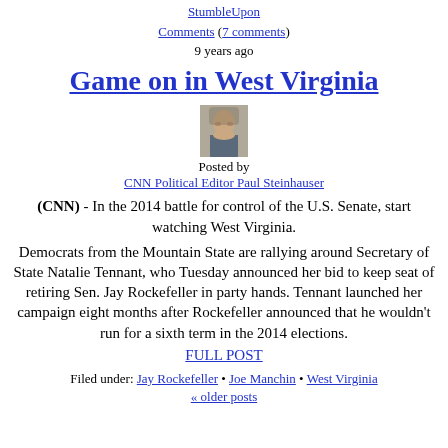StumbleUpon
Comments (7 comments)
9 years ago
Game on in West Virginia
[Figure (photo): Headshot photo of CNN Political Editor Paul Steinhauser]
Posted by
CNN Political Editor Paul Steinhauser
(CNN) - In the 2014 battle for control of the U.S. Senate, start watching West Virginia.
Democrats from the Mountain State are rallying around Secretary of State Natalie Tennant, who Tuesday announced her bid to keep seat of retiring Sen. Jay Rockefeller in party hands. Tennant launched her campaign eight months after Rockefeller announced that he wouldn't run for a sixth term in the 2014 elections.
FULL POST
Filed under: Jay Rockefeller • Joe Manchin • West Virginia
« older posts